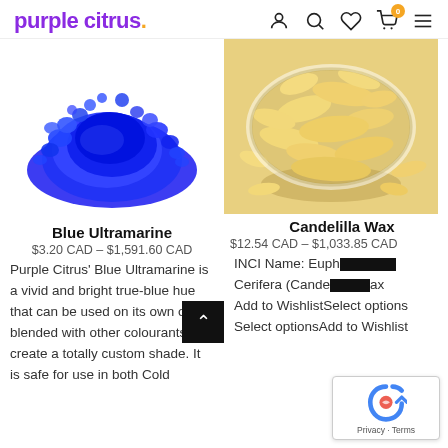purple citrus
[Figure (photo): Pile of vivid blue ultramarine powder on white background]
[Figure (photo): Yellow candelilla wax flakes in a glass bowl on white background]
Blue Ultramarine
$3.20 CAD – $1,591.60 CAD
Purple Citrus' Blue Ultramarine is a vivid and bright true-blue hue that can be used on its own or blended with other colourants to create a totally custom shade. It is safe for use in both Cold
Candelilla Wax
$12.54 CAD – $1,033.85 CAD
INCI Name: Euphorbia Cerifera (Candelilla) Wax Add to WishlistSelect optionsSelect optionsAdd to Wishlist